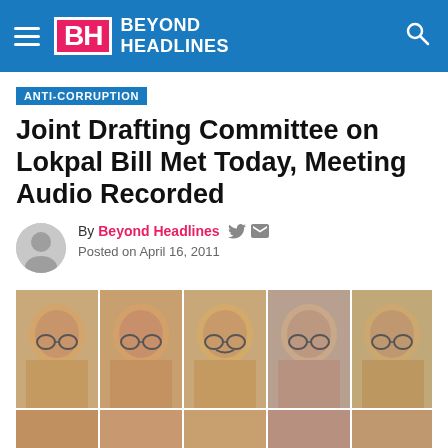Beyond Headlines
ANTI-CORRUPTION
Joint Drafting Committee on Lokpal Bill Met Today, Meeting Audio Recorded
By Beyond Headlines  Posted on April 16, 2011
[Figure (photo): Group photo collage of five politicians/officials in top row and partial bottom row, associated with the Joint Drafting Committee on Lokpal Bill]